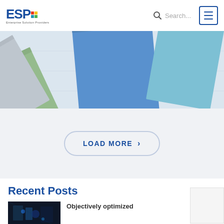ESP Enterprise Solution Providers - Search navigation header
[Figure (photo): Hero banner image showing colorful hardcover notebooks/books (green, blue, teal) arranged on a white wooden surface]
LOAD MORE >
Recent Posts
Objectively optimized
[Figure (photo): Small thumbnail image of electronic circuit board with blue lighting for a blog post]